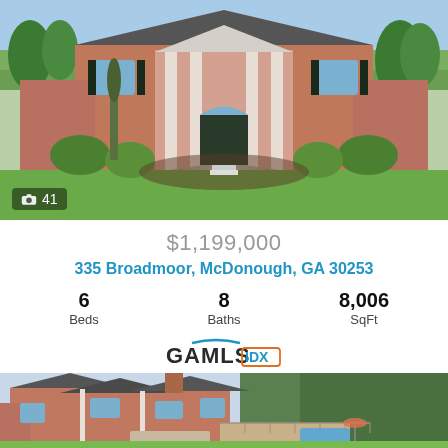[Figure (photo): Exterior front view of a large brick colonial-style home with circular driveway, columns, lush landscaping, green lawn, photo count badge showing camera icon and 41]
$1,199,000
335 Broadmoor, McDonough, GA 30253
6 Beds   8 Baths   8,006 SqFt
[Figure (logo): GAMLS IDX logo]
[Figure (photo): Aerial view of large brick home with multiple gables, gray roof, pool in backyard, surrounded by trees, with heart/favorite icon in upper right]